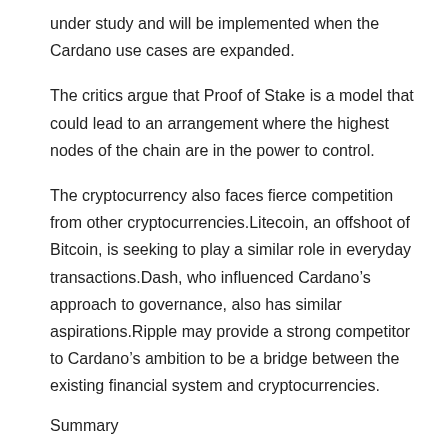under study and will be implemented when the Cardano use cases are expanded.
The critics argue that Proof of Stake is a model that could lead to an arrangement where the highest nodes of the chain are in the power to control.
The cryptocurrency also faces fierce competition from other cryptocurrencies.Litecoin, an offshoot of Bitcoin, is seeking to play a similar role in everyday transactions.Dash, who influenced Cardano’s approach to governance, also has similar aspirations.Ripple may provide a strong competitor to Cardano’s ambition to be a bridge between the existing financial system and cryptocurrencies.
Summary
Cardano is a firm that has a solid concept and a long-term view. It